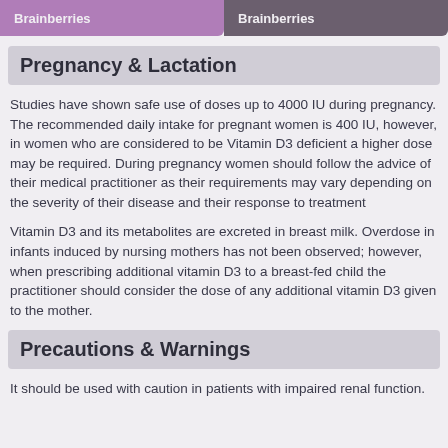Brainberries
Brainberries
Pregnancy & Lactation
Studies have shown safe use of doses up to 4000 IU during pregnancy. The recommended daily intake for pregnant women is 400 IU, however, in women who are considered to be Vitamin D3 deficient a higher dose may be required. During pregnancy women should follow the advice of their medical practitioner as their requirements may vary depending on the severity of their disease and their response to treatment
Vitamin D3 and its metabolites are excreted in breast milk. Overdose in infants induced by nursing mothers has not been observed; however, when prescribing additional vitamin D3 to a breast-fed child the practitioner should consider the dose of any additional vitamin D3 given to the mother.
Precautions & Warnings
It should be used with caution in patients with impaired renal function.